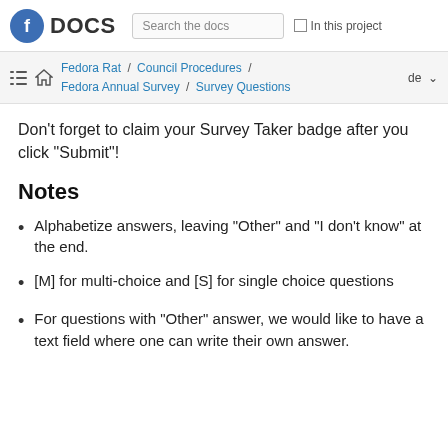DOCS | Search the docs | In this project
Fedora Rat / Council Procedures / Fedora Annual Survey / Survey Questions | de
Don't forget to claim your Survey Taker badge after you click "Submit"!
Notes
Alphabetize answers, leaving "Other" and "I don't know" at the end.
[M] for multi-choice and [S] for single choice questions
For questions with "Other" answer, we would like to have a text field where one can write their own answer.